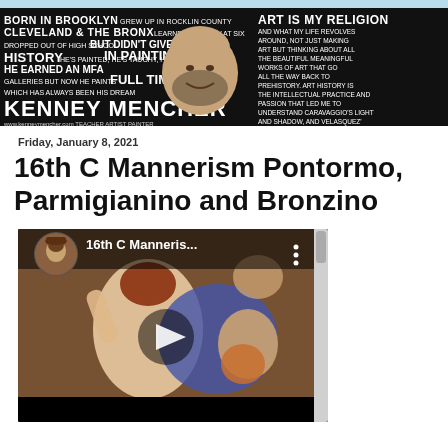[Figure (photo): Kenney Mencher banner with photo of artist and text overlay describing his biography: 'Born in Brooklyn, grew up in Rocklin County, Cleveland & The Bronx, learned to draw at six, dropped out of high school but didn't give up. He earned an MFA in Painting an MA in Art History. He's painted, he's taught, he's worked in galleries but now he paints full time which has always been his dream. Kenney Mencher, Teacher Artist Painter. Art is my religion and what my life revolves around...']
Friday, January 8, 2021
16th C Mannerism Pontormo, Parmigianino and Bronzino
[Figure (screenshot): YouTube video thumbnail showing '16th C Manneris...' with a classical painting of figures, including a pale female nude and cherubs. A circular avatar of the artist appears in the top-left corner. A play button is centered on the video.]